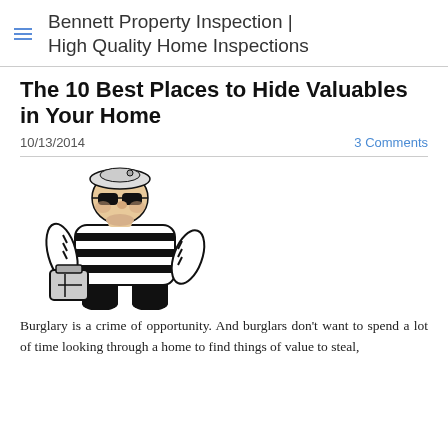Bennett Property Inspection | High Quality Home Inspections
The 10 Best Places to Hide Valuables in Your Home
10/13/2014
3 Comments
[Figure (illustration): Cartoon illustration of a burglar in a striped shirt, beret, and sunglasses, holding a bag]
Burglary is a crime of opportunity.  And burglars don't want to spend a lot of time looking through a home to find things of value to steal,